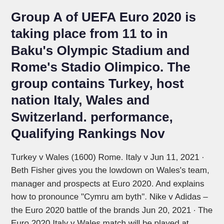Group A of UEFA Euro 2020 is taking place from 11 to in Baku's Olympic Stadium and Rome's Stadio Olimpico. The group contains Turkey, host nation Italy, Wales and Switzerland. performance, Qualifying Rankings Nov
Turkey v Wales (1600) Rome. Italy v Jun 11, 2021 · Beth Fisher gives you the lowdown on Wales's team, manager and prospects at Euro 2020. And explains how to pronounce "Cymru am byth". Nike v Adidas – the Euro 2020 battle of the brands Jun 20, 2021 · The Euro 2020 Italy v Wales match will be played at Stadio Olimpico in Rome Italy on Sun, 18:00:00 GMT. Buy Euro 2020 Italy v Wales tickets securely online for the exciting match at Stadio Olimpico in Rome. All football